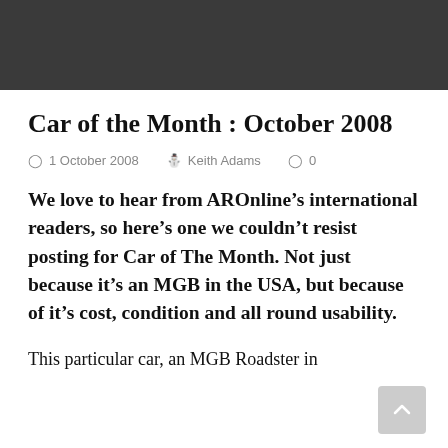Car of the Month : October 2008
1 October 2008  Keith Adams  0
We love to hear from AROnline’s international readers, so here’s one we couldn’t resist posting for Car of The Month. Not just because it’s an MGB in the USA, but because of it’s cost, condition and all round usability.
This particular car, an MGB Roadster in